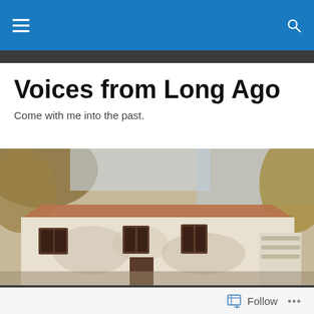Navigation bar with hamburger menu and search icon
Voices from Long Ago
Come with me into the past.
[Figure (photo): Photograph of an old two-story white stucco building with dark shuttered windows, partially shadowed by tree branches, taken outdoors in daylight.]
Why Cascade?
Follow  •••